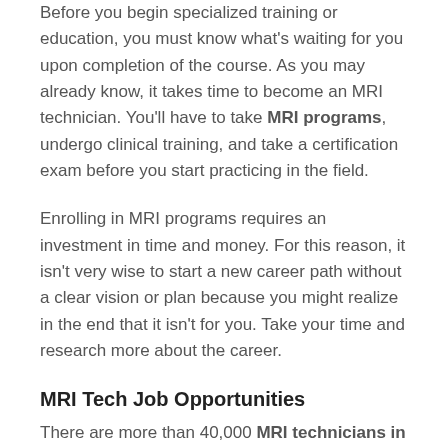Before you begin specialized training or education, you must know what's waiting for you upon completion of the course. As you may already know, it takes time to become an MRI technician. You'll have to take MRI programs, undergo clinical training, and take a certification exam before you start practicing in the field.
Enrolling in MRI programs requires an investment in time and money. For this reason, it isn't very wise to start a new career path without a clear vision or plan because you might realize in the end that it isn't for you. Take your time and research more about the career.
MRI Tech Job Opportunities
There are more than 40,000 MRI technicians in the US alone, and they're considered essential